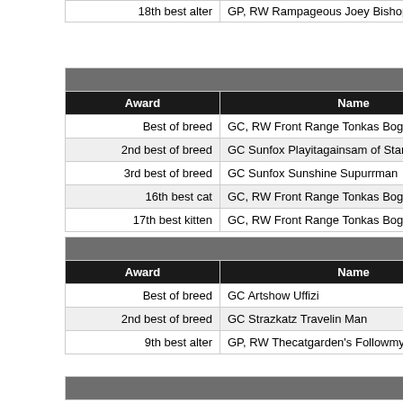| Award | Name | Color |
| --- | --- | --- |
| 18th best alter | GP, RW Rampageous Joey Bishop of Sharmani | Fawn M |
| Award | Name | Color |
| --- | --- | --- |
| Best of breed | GC, RW Front Range Tonkas Bogey of Tajhara | Ruddy |
| 2nd best of breed | GC Sunfox Playitagainsam of Starstuff | Ruddy |
| 3rd best of breed | GC Sunfox Sunshine Supurrman | Fawn M |
| 16th best cat | GC, RW Front Range Tonkas Bogey of Tajhara | Ruddy |
| 17th best kitten | GC, RW Front Range Tonkas Bogey of Tajhara | Ruddy |
| Award | Name | Color |
| --- | --- | --- |
| Best of breed | GC Artshow Uffizi | Red M |
| 2nd best of breed | GC Strazkatz Travelin Man | Fawn M |
| 9th best alter | GP, RW Thecatgarden's Followmydream | Ruddy M |
| Award | Name | Color |
| --- | --- | --- |